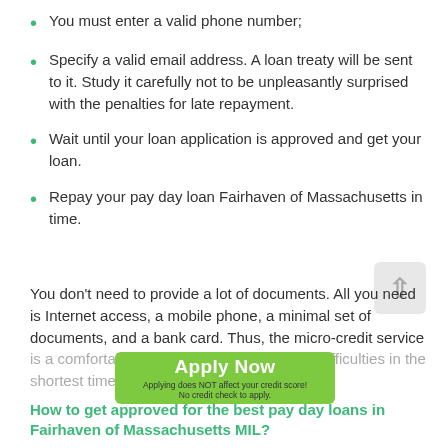You must enter a valid phone number;
Specify a valid email address. A loan treaty will be sent to it. Study it carefully not to be unpleasantly surprised with the penalties for late repayment.
Wait until your loan application is approved and get your loan.
Repay your pay day loan Fairhaven of Massachusetts in time.
You don't need to provide a lot of documents. All you need is Internet access, a mobile phone, a minimal set of documents, and a bank card. Thus, the micro-credit service is a comfortable way to solve your financial difficulties in the shortest time.
Apply Now
Applying does NOT affect your credit score!
No credit check to apply.
How to get approved for the best pay day loans in Fairhaven of Massachusetts MIL?